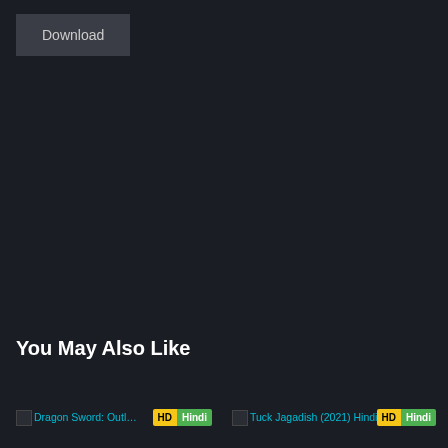Download
You May Also Like
[Figure (screenshot): Thumbnail for Dragon Sword: Outlaw (2024) Hindi Dubbed with HD Hindi badge]
[Figure (screenshot): Thumbnail for Tuck Jagadish (2021) Hindi Dubbed with HD Hindi badge]